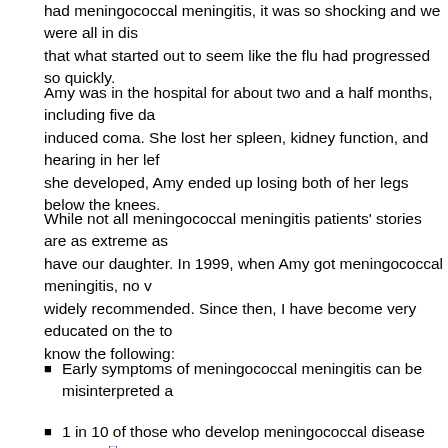had meningococcal meningitis, it was so shocking and we were all in disbelief that what started out to seem like the flu had progressed so quickly.
Amy was in the hospital for about two and a half months, including five days in an induced coma. She lost her spleen, kidney function, and hearing in her left ear. Due to gangrene she developed, Amy ended up losing both of her legs below the knees.
While not all meningococcal meningitis patients' stories are as extreme as ours, we would never have our daughter. In 1999, when Amy got meningococcal meningitis, no vaccine was widely recommended. Since then, I have become very educated on the topic and want you to know the following:
Early symptoms of meningococcal meningitis can be misinterpreted a
1 in 10 of those who develop meningococcal disease will die[ii]
There are five common forms of bacteria that cause meningococcal d Y[iii]
Until 2014, there was no vaccine to help protect against invasive me in the United States, which accounts for approximately 40% of all ca
Moms take the health of their families very seriously, which is why I wante